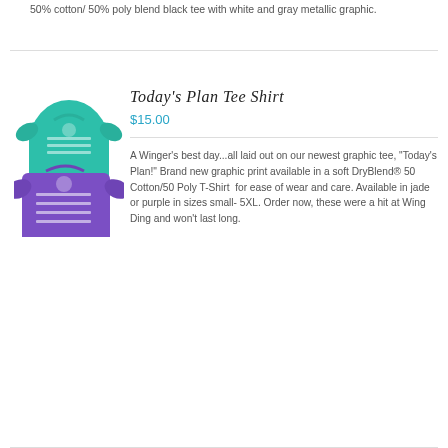50% cotton/ 50% poly blend black tee with white and gray metallic graphic.
Today's Plan Tee Shirt
$15.00
[Figure (photo): Two t-shirts stacked: a teal/jade colored t-shirt on top and a purple t-shirt below, both featuring a graphic print labeled Today's Plan]
A Winger's best day...all laid out on our newest graphic tee, "Today's Plan!" Brand new graphic print available in a soft DryBlend® 50 Cotton/50 Poly T-Shirt  for ease of wear and care. Available in jade or purple in sizes small- 5XL. Order now, these were a hit at Wing Ding and won't last long.